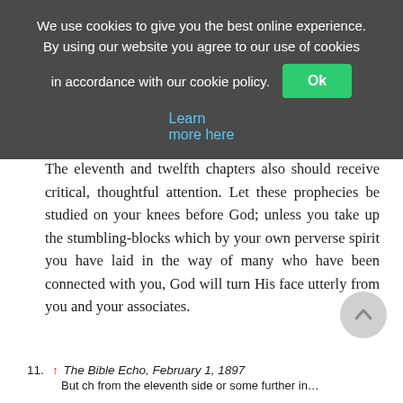We use cookies to give you the best online experience. By using our website you agree to our use of cookies in accordance with our cookie policy. Ok  Learn more here
The eleventh and twelfth chapters also should receive critical, thoughtful attention. Let these prophecies be studied on your knees before God; unless you take up the stumbling-blocks which by your own perverse spirit you have laid in the way of many who have been connected with you, God will turn His face utterly from you and your associates.
11. ↑ The Bible Echo, February 1, 1897